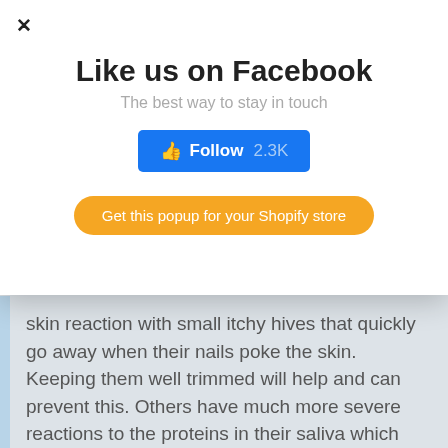[Figure (screenshot): Background article text partially visible behind popup: 'skin reaction with small itchy hives that quickly go away when their nails poke the skin. Keeping them well trimmed will help and can prevent this. Others have much more severe reactions to the proteins in their saliva which can cause serious respiratory issues.']
Like us on Facebook
The best way to stay in touch
[Figure (other): Blue Facebook Follow button with thumbs up icon showing 'Follow 2.3K']
Get this popup for your Shopify store